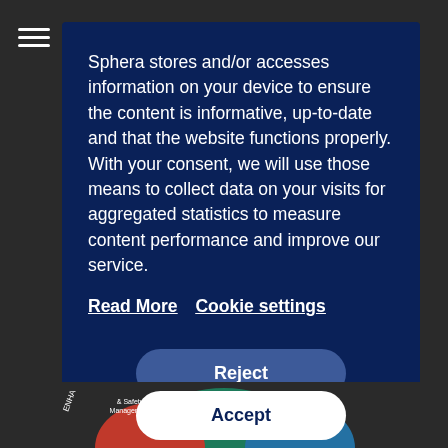Sphera stores and/or accesses information on your device to ensure the content is informative, up-to-date and that the website functions properly. With your consent, we will use those means to collect data on your visits for aggregated statistics to measure content performance and improve our service.
Read More   Cookie settings
Reject
Accept